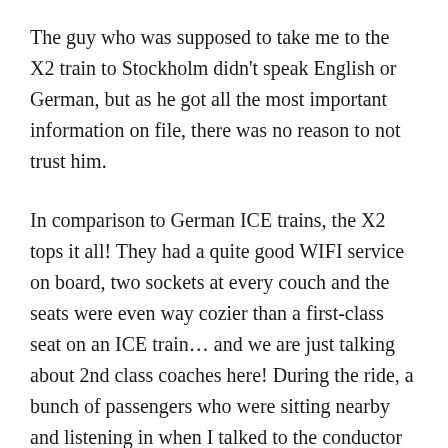The guy who was supposed to take me to the X2 train to Stockholm didn't speak English or German, but as he got all the most important information on file, there was no reason to not trust him.
In comparison to German ICE trains, the X2 tops it all! They had a quite good WIFI service on board, two sockets at every couch and the seats were even way cozier than a first-class seat on an ICE train… and we are just talking about 2nd class coaches here! During the ride, a bunch of passengers who were sitting nearby and listening in when I talked to the conductor came up to me to offer their help if necessary.
The rest of the journey went very smooth; they picked me up in Stockholm to guide me to the train to Uppsala,